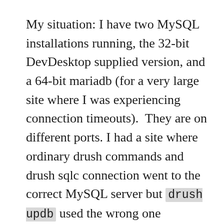My situation: I have two MySQL installations running, the 32-bit DevDesktop supplied version, and a 64-bit mariadb (for a very large site where I was experiencing connection timeouts).  They are on different ports. I had a site where ordinary drush commands and drush sqlc connection went to the correct MySQL server but drush updb used the wrong one (confirmed using the --verbose option – in fact it was connecting to a database with a different name entirely.
I couldn't figure out what was going on, so I upgraded from Drush 8 to 9 and that fixed it immediately.